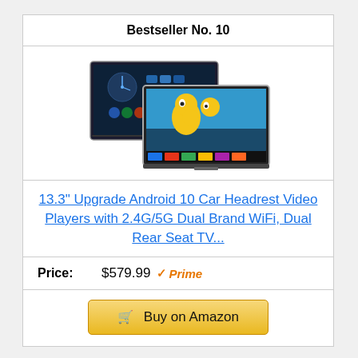Bestseller No. 10
[Figure (photo): Two car headrest video player screens showing Android interface and animated content]
13.3" Upgrade Android 10 Car Headrest Video Players with 2.4G/5G Dual Brand WiFi, Dual Rear Seat TV...
Price: $579.99 Prime
Buy on Amazon